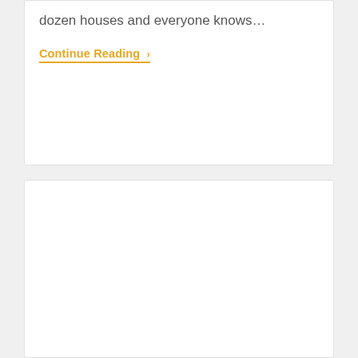dozen houses and everyone knows…
Continue Reading ›
[Figure (other): Empty white card/content block below the first card]